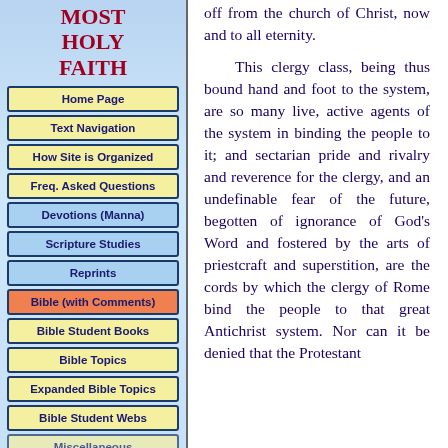MOST HOLY FAITH
Home Page
Text Navigation
How Site is Organized
Freq. Asked Questions
Devotions (Manna)
Scripture Studies
Reprints
Bible (with Comments)
Bible Student Books
Bible Topics
Expanded Bible Topics
Bible Student Webs
Miscellaneous
off from the church of Christ, now and to all eternity.

This clergy class, being thus bound hand and foot to the system, are so many live, active agents of the system in binding the people to it; and sectarian pride and rivalry and reverence for the clergy, and an undefinable fear of the future, begotten of ignorance of God's Word and fostered by the arts of priestcraft and superstition, are the cords by which the clergy of Rome bind the people to that great Antichrist system. Nor can it be denied that the Protestant